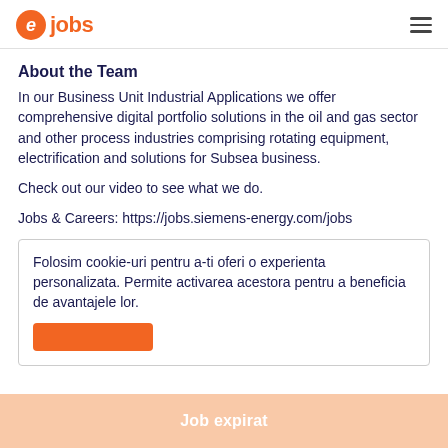ejobs
About the Team
In our Business Unit Industrial Applications we offer comprehensive digital portfolio solutions in the oil and gas sector and other process industries comprising rotating equipment, electrification and solutions for Subsea business.
Check out our video to see what we do.
Jobs & Careers: https://jobs.siemens-energy.com/jobs
Folosim cookie-uri pentru a-ti oferi o experienta personalizata. Permite activarea acestora pentru a beneficia de avantajele lor.
Job expirat